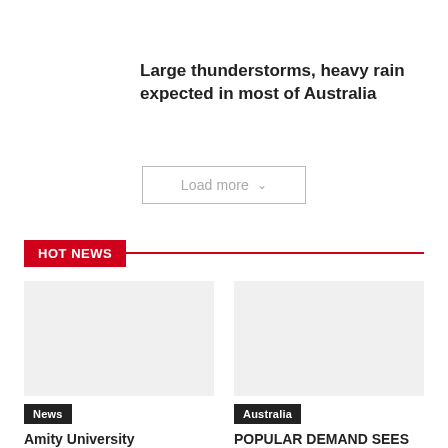Large thunderstorms, heavy rain expected in most of Australia
Load more
HOT NEWS
News
Amity University collaborates
Australia
POPULAR DEMAND SEES